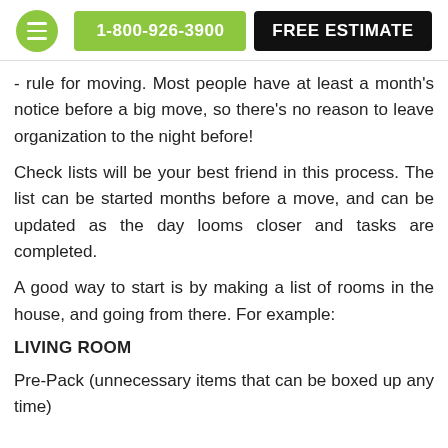1-800-926-3900 | FREE ESTIMATE
- rule for moving. Most people have at least a month's notice before a big move, so there's no reason to leave organization to the night before!
Check lists will be your best friend in this process. The list can be started months before a move, and can be updated as the day looms closer and tasks are completed.
A good way to start is by making a list of rooms in the house, and going from there. For example:
LIVING ROOM
Pre-Pack (unnecessary items that can be boxed up any time)